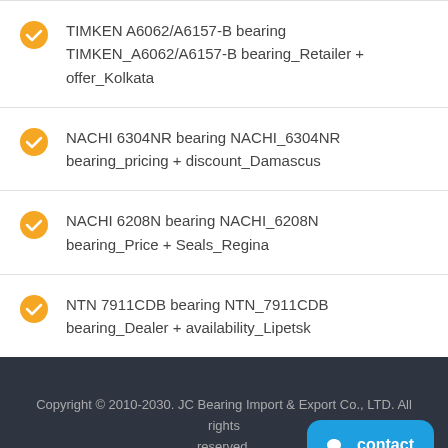TIMKEN A6062/A6157-B bearing TIMKEN_A6062/A6157-B bearing_Retailer + offer_Kolkata
NACHI 6304NR bearing NACHI_6304NR bearing_pricing + discount_Damascus
NACHI 6208N bearing NACHI_6208N bearing_Price + Seals_Regina
NTN 7911CDB bearing NTN_7911CDB bearing_Dealer + availability_Lipetsk
Copyright © 2010-2030. JC Bearing Import & Export Co., LTD. All rights reserved.